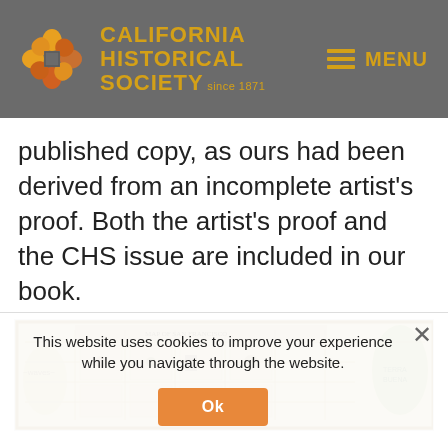CALIFORNIA HISTORICAL SOCIETY since 1871 | MENU
published copy, as ours had been derived from an incomplete artist's proof. Both the artist's proof and the CHS issue are included in our book.
[Figure (map): Antique illustrated map, appears to be a decorative/pictorial map with grid layout and illustrated scenes]
This website uses cookies to improve your experience while you navigate through the website.